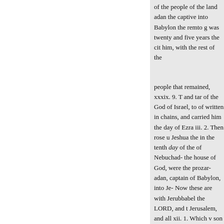of the people of the land adan the captive into Babylon the remto g was twenty and five years the cit him, with the rest of the
people that remained, xxxix. 9. T and tar of the God of Israel, to of written in chains, and carried him the day of Ezra iii. 2. Then rose u Jeshua the in the tenth day of the of Nebuchad- the house of God, were the prozar-adan, captain of Babylon, into Je- Now these are with Jerubbabel the LORD, and t Jerusalem, and all xii. 1. Which v son of Rhesa, be with fire. And a with the captain which was the s Neri, Luke iii. 27. of Jerusalem r
VER. 13. buzar-adan, the capt ἐγέννησε τον ᾿Αβιούδ· ᾿Αβιρoor o the people that remained in the c Zorobabel begat Abiud; and his